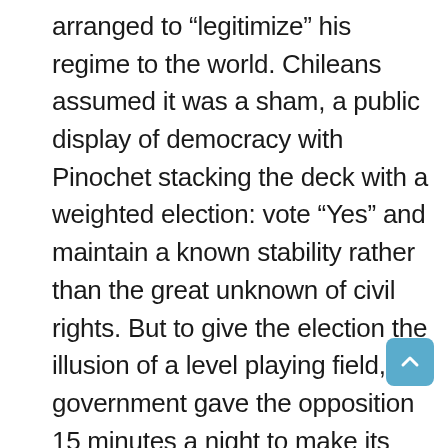arranged to “legitimize” his regime to the world. Chileans assumed it was a sham, a public display of democracy with Pinochet stacking the deck with a weighted election: vote “Yes” and maintain a known stability rather than the great unknown of civil rights. But to give the election the illusion of a level playing field, the government gave the opposition 15 minutes a night to make its case. Gael Garcia Bernal’s modern advertising phenom René Saavedra, the film’s ostensible hero, is a composite of numerous real-life figures, but his challenge was the same: he had to convince the opposition not to run a litany of Pinochet’s crimes. What they did with the time utterly befuddled the government spin doctors: they sold the “No” campaign and the idea of democratic as a product, packaged with humor, color, idealized images, and the feel-good attitude of a soft-drink